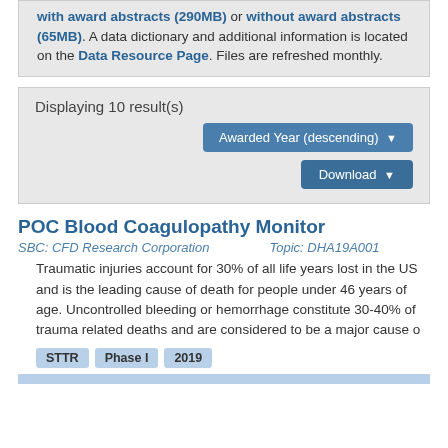with award abstracts (290MB) or without award abstracts (65MB). A data dictionary and additional information is located on the Data Resource Page. Files are refreshed monthly.
Displaying 10 result(s)
Awarded Year (descending) ▾
Download ▾
POC Blood Coagulopathy Monitor
SBC: CFD Research Corporation   Topic: DHA19A001
Traumatic injuries account for 30% of all life years lost in the US and is the leading cause of death for people under 46 years of age. Uncontrolled bleeding or hemorrhage constitute 30-40% of trauma related deaths and are considered to be a major cause o
STTR
Phase I
2019